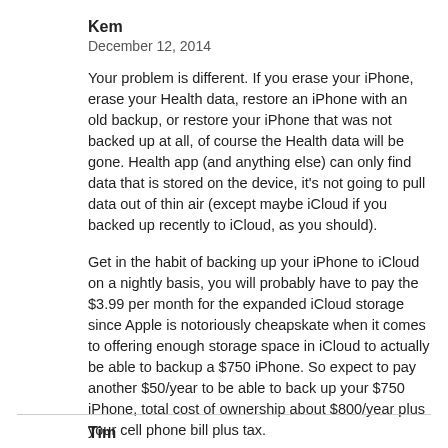Kem
December 12, 2014
Your problem is different. If you erase your iPhone, erase your Health data, restore an iPhone with an old backup, or restore your iPhone that was not backed up at all, of course the Health data will be gone. Health app (and anything else) can only find data that is stored on the device, it's not going to pull data out of thin air (except maybe iCloud if you backed up recently to iCloud, as you should).
Get in the habit of backing up your iPhone to iCloud on a nightly basis, you will probably have to pay the $3.99 per month for the expanded iCloud storage since Apple is notoriously cheapskate when it comes to offering enough storage space in iCloud to actually be able to backup a $750 iPhone. So expect to pay another $50/year to be able to back up your $750 iPhone, total cost of ownership about $800/year plus your cell phone bill plus tax.
Reply
Tim